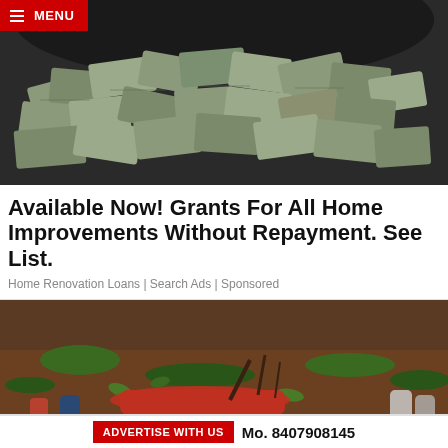MENU
[Figure (photo): Large vault or container filled with stacks of bundled currency notes (money)]
Available Now! Grants For All Home Improvements Without Repayment. See List.
Home Renovation Loans | Search Ads | Sponsored
[Figure (photo): Outdoor scene with people standing around what appears to be a body on the ground with red clothing, surrounded by vegetation and dirt]
ADVERTISE WITH US  Mo. 8407908145